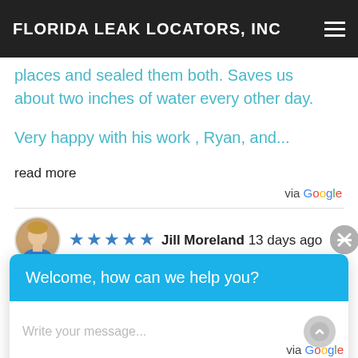FLORIDA LEAK LOCATORS, INC
places and sealed them both. Saves us about two inches of water every other day.
Very happy with his work , Ryan, and...
read more
via Google
[Figure (screenshot): Review by Jill Moreland 13 days ago with 5 stars, and a chat widget overlay saying 'Welcome, how can we help you?' with a message input field]
via Google